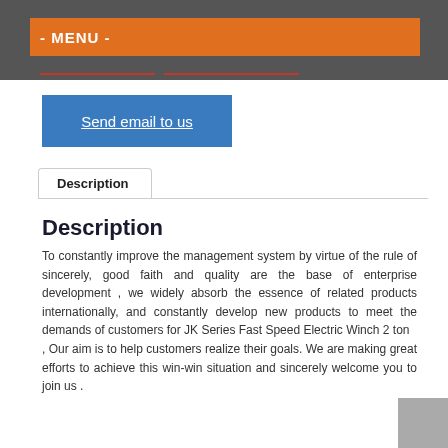- MENU -
Send email to us
Description
Description
To constantly improve the management system by virtue of the rule of sincerely, good faith and quality are the base of enterprise development , we widely absorb the essence of related products internationally, and constantly develop new products to meet the demands of customers for JK Series Fast Speed Electric Winch 2 ton
, Our aim is to help customers realize their goals. We are making great efforts to achieve this win-win situation and sincerely welcome you to join us .